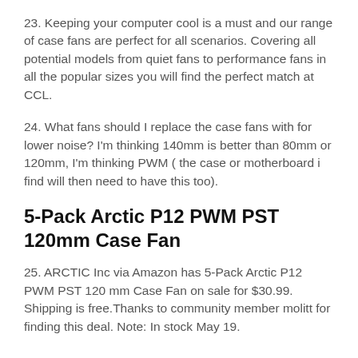23. Keeping your computer cool is a must and our range of case fans are perfect for all scenarios. Covering all potential models from quiet fans to performance fans in all the popular sizes you will find the perfect match at CCL.
24. What fans should I replace the case fans with for lower noise? I'm thinking 140mm is better than 80mm or 120mm, I'm thinking PWM ( the case or motherboard i find will then need to have this too).
5-Pack Arctic P12 PWM PST 120mm Case Fan
25. ARCTIC Inc via Amazon has 5-Pack Arctic P12 PWM PST 120 mm Case Fan on sale for $30.99. Shipping is free.Thanks to community member molitt for finding this deal. Note: In stock May 19.